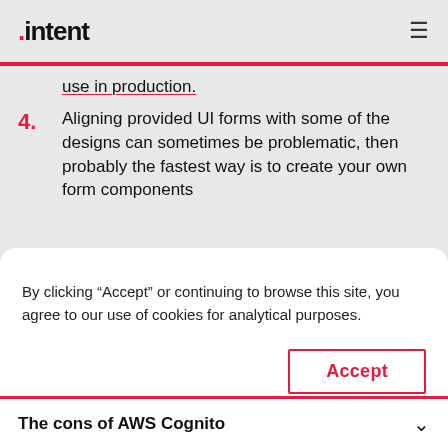.intent
use in production.
4. Aligning provided UI forms with some of the designs can sometimes be problematic, then probably the fastest way is to create your own form components
By clicking “Accept” or continuing to browse this site, you agree to our use of cookies for analytical purposes.
Accept
The cons of AWS Cognito